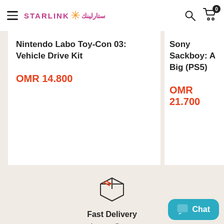Starlink header with hamburger menu, logo, search and cart icons
Nintendo Labo Toy-Con 03: Vehicle Drive Kit
OMR 14.800
Sony Sackboy: A Big (PS5)
OMR 21.700
[Figure (illustration): Box/package icon outline with orange stripe lines on top]
Fast Delivery
Across Oman